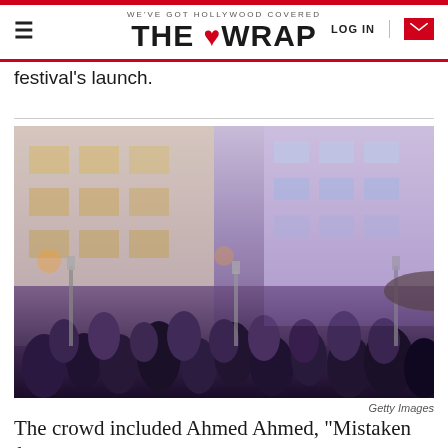WE'VE GOT HOLLYWOOD COVERED | THE WRAP | LOG IN
festival's launch.
[Figure (photo): A large outdoor crowd gathered at a courtyard event at night, with multi-story building lit in purple/white in the background, heat lamps visible, crowd mingling at what appears to be a film festival party.]
Getty Images
The crowd included Ahmed Ahmed, "Mistaken for Stranger," and...